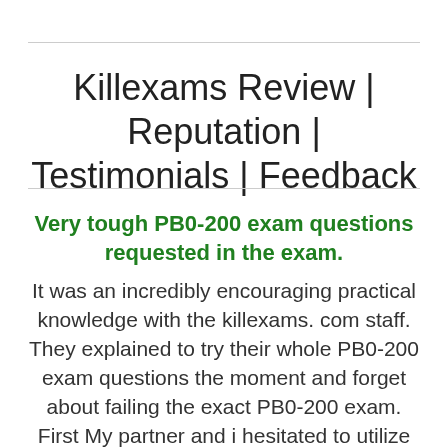Killexams Review | Reputation | Testimonials | Feedback
Very tough PB0-200 exam questions requested in the exam.
It was an incredibly encouraging practical knowledge with the killexams. com staff. They explained to try their whole PB0-200 exam questions the moment and forget about failing the exact PB0-200 exam. First My partner and i hesitated to utilize the